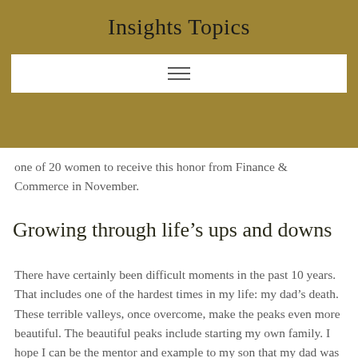Insights Topics
[Figure (other): Navigation hamburger menu bar (three horizontal lines) on white background within gold header area]
one of 20 women to receive this honor from Finance & Commerce in November.
Growing through life’s ups and downs
There have certainly been difficult moments in the past 10 years. That includes one of the hardest times in my life: my dad’s death. These terrible valleys, once overcome, make the peaks even more beautiful. The beautiful peaks include starting my own family. I hope I can be the mentor and example to my son that my dad was to me.